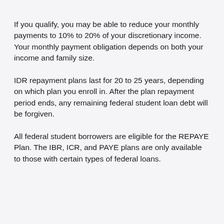If you qualify, you may be able to reduce your monthly payments to 10% to 20% of your discretionary income. Your monthly payment obligation depends on both your income and family size.
IDR repayment plans last for 20 to 25 years, depending on which plan you enroll in. After the plan repayment period ends, any remaining federal student loan debt will be forgiven.
All federal student borrowers are eligible for the REPAYE Plan. The IBR, ICR, and PAYE plans are only available to those with certain types of federal loans.